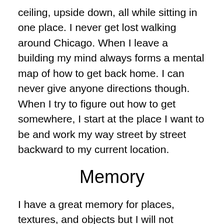ceiling, upside down, all while sitting in one place. I never get lost walking around Chicago. When I leave a building my mind always forms a mental map of how to get back home. I can never give anyone directions though. When I try to figure out how to get somewhere, I start at the place I want to be and work my way street by street backward to my current location.
Memory
I have a great memory for places, textures, and objects but I will not remember your face. I am just enough on the autism scale that I hate looking into people's eyes. At 19 I still find it hard